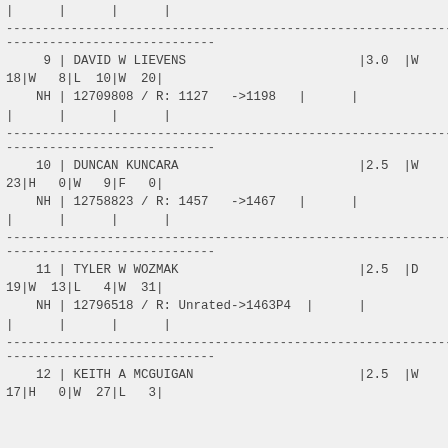|      |      |      |
--------------------------------------------------------------
-----------------------------
9 | DAVID W LIEVENS                       |3.0  |W  18|W   8|L  10|W  20|
NH | 12709808 / R: 1127   ->1198  |      |
|      |      |      |
--------------------------------------------------------------
-----------------------------
10 | DUNCAN KUNCARA                        |2.5  |W  23|H   0|W   9|F   0|
NH | 12758823 / R: 1457   ->1467  |      |
|      |      |      |
--------------------------------------------------------------
-----------------------------
11 | TYLER W WOZMAK                        |2.5  |D  19|W  13|L   4|W  31|
NH | 12796518 / R: Unrated->1463P4  |      |
|      |      |      |
--------------------------------------------------------------
-----------------------------
12 | KEITH A MCGUIGAN                      |2.5  |W  17|H   0|W  27|L   3|